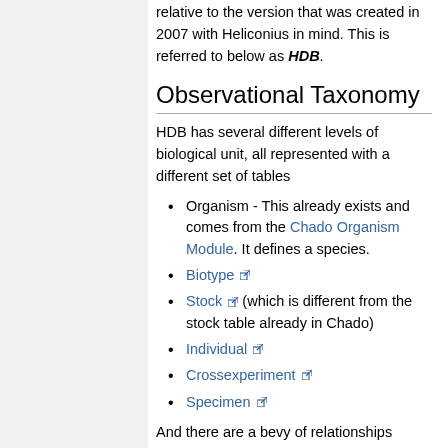relative to the version that was created in 2007 with Heliconius in mind. This is referred to below as HDB.
Observational Taxonomy
HDB has several different levels of biological unit, all represented with a different set of tables
Organism - This already exists and comes from the Chado Organism Module. It defines a species.
Biotype
Stock (which is different from the stock table already in Chado)
Individual
Crossexperiment
Specimen
And there are a bevy of relationships between these tables.